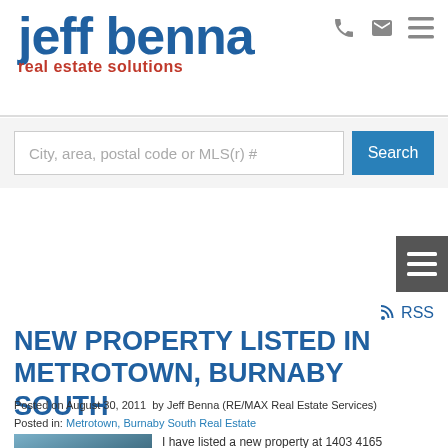jeff benna real estate solutions
City, area, postal code or MLS(r) #
NEW PROPERTY LISTED IN METROTOWN, BURNABY SOUTH
Posted on August 30, 2011  by Jeff Benna (RE/MAX Real Estate Services)
Posted in: Metrotown, Burnaby South Real Estate
[Figure (photo): Photo of a modern apartment building with trees against blue sky]
I have listed a new property at 1403 4165 MAYWOOD ST in Burnaby.